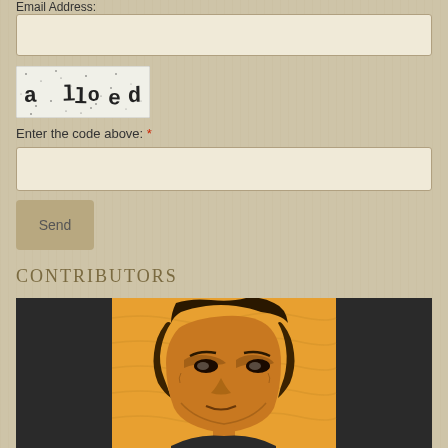Email Address:
[Figure (other): Text input box for email address, empty, light beige background with brown border]
[Figure (other): CAPTCHA image showing distorted text 'alloed' on a noisy/dotted background in a rectangular border]
Enter the code above: *
[Figure (other): Text input box for CAPTCHA code entry, empty, light beige background with brown border]
[Figure (other): Send button, muted tan/khaki color with text 'Send']
Contributors
[Figure (illustration): Illustrated portrait of a person with curly/wavy hair on an orange/amber background with dark side panels, comic book or graphic novel style illustration]